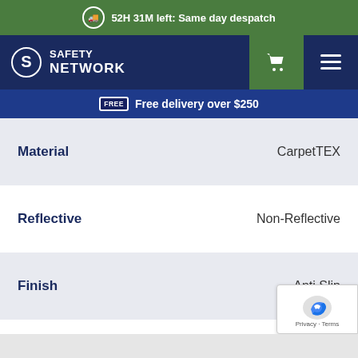52H 31M left: Same day despatch
[Figure (logo): Safety Network logo with shopping cart and hamburger menu icons]
Free delivery over $250
| Attribute | Value |
| --- | --- |
| Material | CarpetTEX |
| Reflective | Non-Reflective |
| Finish | Anti Slip |
| Finish | Uniform Safety Signs |